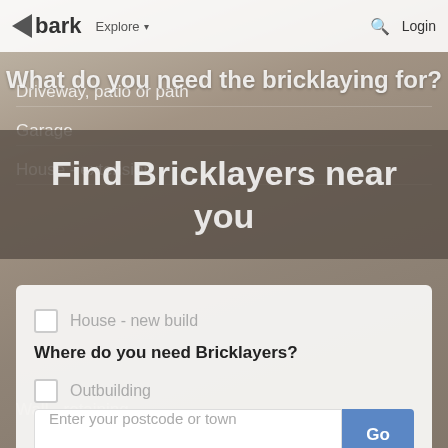bark  Explore▾  🔍  Login
What do you need the bricklaying for?
[Figure (screenshot): Bark.com website screenshot showing a bricklayer service finder page with navigation bar, heading overlay 'Find Bricklayers near you', a list of bricklaying job types, and a location search card.]
Driveway, patio or path
Garage
House - extension
House - new build
Where do you need Bricklayers?
Outbuilding
Enter your postcode or town
Wall - boundary
Wall - garden
Wall - retaining